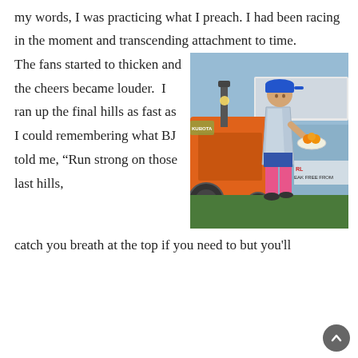my words, I was practicing what I preach. I had been racing in the moment and transcending attachment to time.
The fans started to thicken and the cheers became louder.  I ran up the final hills as fast as I could remembering what BJ told me, “Run strong on those last hills, catch you breath at the top if you need to but you’ll
[Figure (photo): A female runner wearing a blue cap, silver thermal blanket draped over her shoulders, and pink compression socks, holding a plate of food (oranges), standing near an orange tractor at what appears to be an Ironman triathlon finish/transition area. Tents and other participants visible in background.]